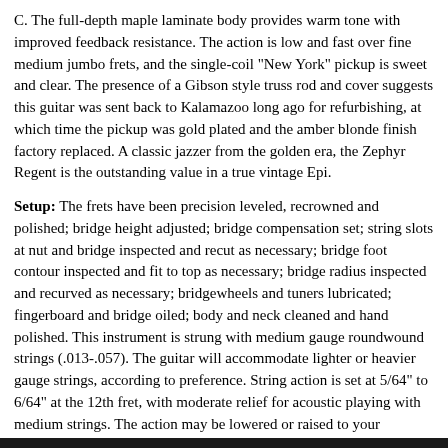C. The full-depth maple laminate body provides warm tone with improved feedback resistance. The action is low and fast over fine medium jumbo frets, and the single-coil "New York" pickup is sweet and clear. The presence of a Gibson style truss rod and cover suggests this guitar was sent back to Kalamazoo long ago for refurbishing, at which time the pickup was gold plated and the amber blonde finish factory replaced. A classic jazzer from the golden era, the Zephyr Regent is the outstanding value in a true vintage Epi.
Setup: The frets have been precision leveled, recrowned and polished; bridge height adjusted; bridge compensation set; string slots at nut and bridge inspected and recut as necessary; bridge foot contour inspected and fit to top as necessary; bridge radius inspected and recurved as necessary; bridgewheels and tuners lubricated; fingerboard and bridge oiled; body and neck cleaned and hand polished. This instrument is strung with medium gauge roundwound strings (.013-.057). The guitar will accommodate lighter or heavier gauge strings, according to preference. String action is set at 5/64" to 6/64" at the 12th fret, with moderate relief for acoustic playing with medium strings. The action may be lowered or raised to your requirements with the adjustable bridge.
Case: Deluxe plush lined arched hardshell case.